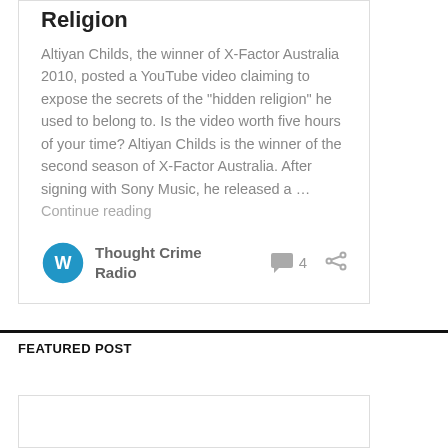Religion
Altiyan Childs, the winner of X-Factor Australia 2010, posted a YouTube video claiming to expose the secrets of the “hidden religion” he used to belong to. Is the video worth five hours of your time? Altiyan Childs is the winner of the second season of X-Factor Australia. After signing with Sony Music, he released a … Continue reading
Thought Crime Radio  4
FEATURED POST